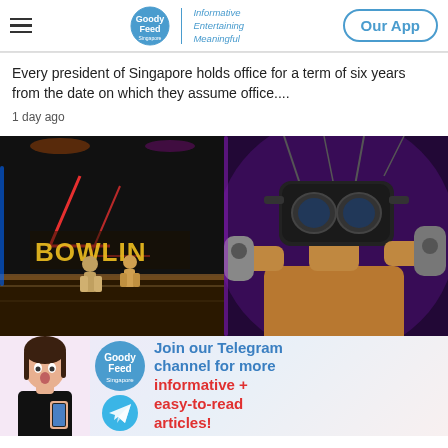GoodyFeed | Informative Entertaining Meaningful | Our App
Every president of Singapore holds office for a term of six years from the date on which they assume office....
1 day ago
[Figure (photo): Two side-by-side photos: left shows people bowling in a dark bowling alley with neon signs reading 'BOWLING'; right shows a person wearing a VR headset holding controllers in a purple-lit environment]
[Figure (infographic): GoodyFeed Telegram channel advertisement banner with a surprised Asian woman, GoodyFeed logo, Telegram icon, and text 'Join our Telegram channel for more informative + easy-to-read articles!']